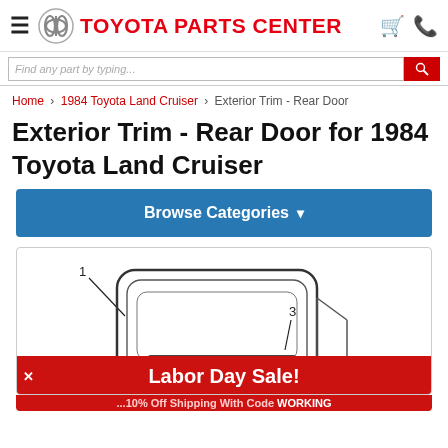TOYOTA PARTS CENTER
Search bar
Home > 1984 Toyota Land Cruiser > Exterior Trim - Rear Door
Exterior Trim - Rear Door for 1984 Toyota Land Cruiser
Browse Categories
[Figure (engineering-diagram): Exploded parts diagram of Exterior Trim - Rear Door for 1984 Toyota Land Cruiser, showing numbered parts (1 and 3) with callout lines indicating the rear door trim components.]
Labor Day Sale!
...10% Off Shipping With Code WORKING